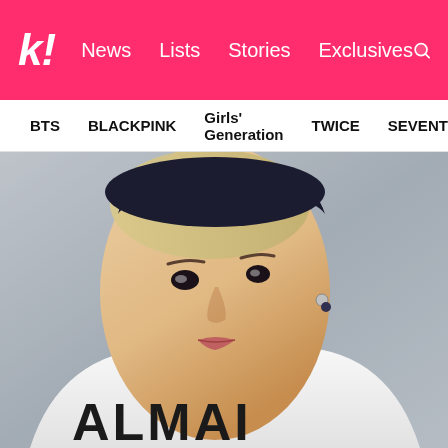k! News Lists Stories Exclusives
BTS  BLACKPINK  Girls' Generation  TWICE  SEVENTEEN
[Figure (photo): Close-up portrait of a young person with short bleached hair wearing a dark cap and silver earring, dressed in a white Balmain sweater, photographed against a grey background]